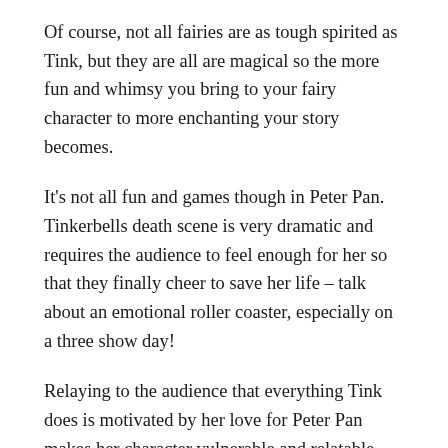Of course, not all fairies are as tough spirited as Tink, but they are all are magical so the more fun and whimsy you bring to your fairy character to more enchanting your story becomes.
It's not all fun and games though in Peter Pan. Tinkerbells death scene is very dramatic and requires the audience to feel enough for her so that they finally cheer to save her life – talk about an emotional roller coaster, especially on a three show day!
Relaying to the audience that everything Tink does is motivated by her love for Peter Pan makes her character vulnerable and relatable – everyone knows that love can make you do crazy things!!
Craziness aside, having to opportunity to play a fairy at the most magical time of the year and bring happiness